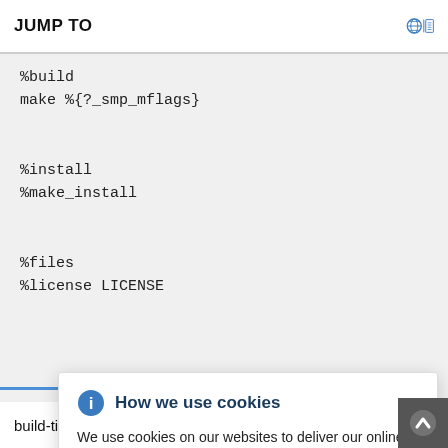JUMP TO
%build
make %{?_smp_mflags}

%install
%make_install

%files
%license LICENSE
[Figure (screenshot): Cookie consent popup dialog with title 'How we use cookies', info icon, close button, body text about cookie usage, and a link to Privacy Statement.]
build-time dependencies for the package